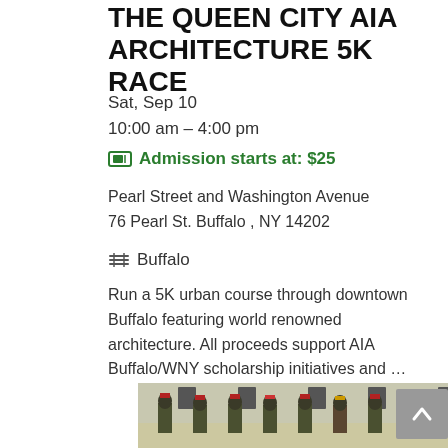THE QUEEN CITY AIA ARCHITECTURE 5K RACE
Sat, Sep 10
10:00 am – 4:00 pm
Admission starts at: $25
Pearl Street and Washington Avenue
76 Pearl St. Buffalo , NY 14202
Buffalo
Run a 5K urban course through downtown Buffalo featuring world renowned architecture. All proceeds support AIA Buffalo/WNY scholarship initiatives and …
[Figure (photo): Historical reenactors in military uniforms (Napoleonic era, green and white with red feathered hats) standing in formation in front of a stone building]